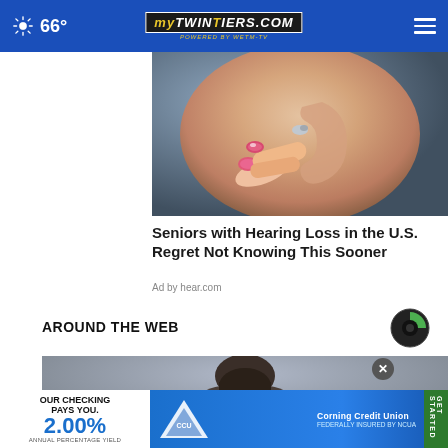66° | MyTwinTiers.com
[Figure (photo): Close-up photo of a person inserting a small hearing aid into their ear, with pink-painted fingernails visible.]
Seniors with Hearing Loss in the U.S. Regret Not Knowing This Sooner
Ad by hear.com
AROUND THE WEB
[Figure (logo): Taboola logo — circular icon with green and dark segments.]
[Figure (photo): Portrait photo of a young man, partially visible, with a blurred grey background.]
[Figure (infographic): Advertisement banner for Corning Credit Union: 'OUR CHECKING PAYS YOU. 2.00% ANNUAL PERCENTAGE YIELD' with CCU logo and GET STARTED button. Federally insured by NCUA.]